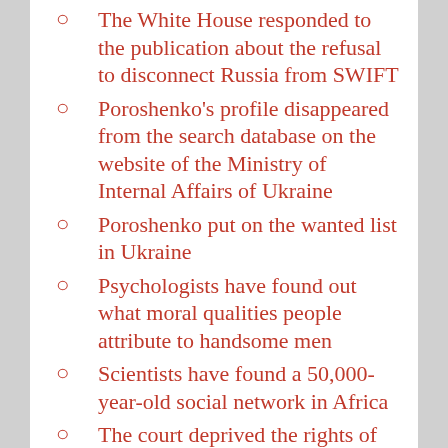The White House responded to the publication about the refusal to disconnect Russia from SWIFT
Poroshenko's profile disappeared from the search database on the website of the Ministry of Internal Affairs of Ukraine
Poroshenko put on the wanted list in Ukraine
Psychologists have found out what moral qualities people attribute to handsome men
Scientists have found a 50,000-year-old social network in Africa
The court deprived the rights of the parents of a girl who lived in a perinatal center for five years